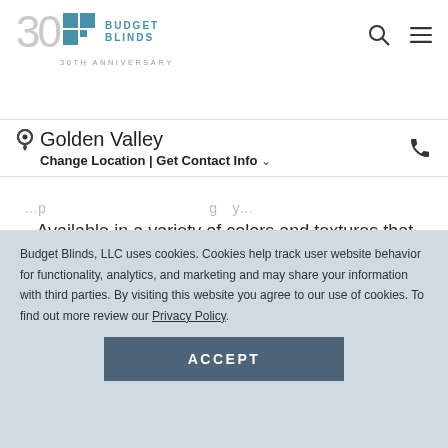Budget Blinds 30th Anniversary — Golden Valley — Change Location | Get Contact Info
…p … g y…
Available in a variety of colors and textures that can be easily mixed and matched with your existing home decor.
When closed, vinyl blinds help block the sun's
Budget Blinds, LLC uses cookies. Cookies help track user website behavior for functionality, analytics, and marketing and may share your information with third parties. By visiting this website you agree to our use of cookies. To find out more review our Privacy Policy.
ACCEPT